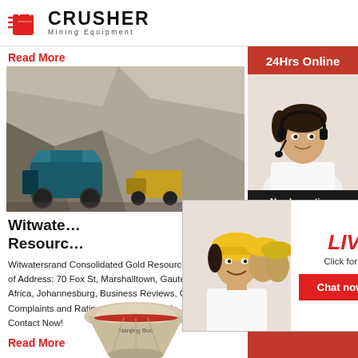[Figure (logo): Crusher Mining Equipment logo with red shopping bag icon and bold CRUSHER text]
Read More
[Figure (photo): Mining site with heavy machinery and rock face]
Witwate… Resourc…
Witwatersrand Consolidated Gold Resources Pl… of Address: 70 Fox St, Marshalltown, Gauteng, … Africa, Johannesburg, Business Reviews, Consu… Complaints and Ratings for Gold Mines in Johan… Contact Now!
Read More
[Figure (photo): Industrial cone crusher machine]
[Figure (infographic): Live Chat overlay popup with agents photo, LIVE CHAT heading, Click for a Free Consultation, Chat now and Chat later buttons]
[Figure (infographic): Right sidebar: 24Hrs Online banner, female agent with headset photo, Need questions & suggestion panel, Chat Now button, Enquiry section, limingjlmofen@sina.com email]